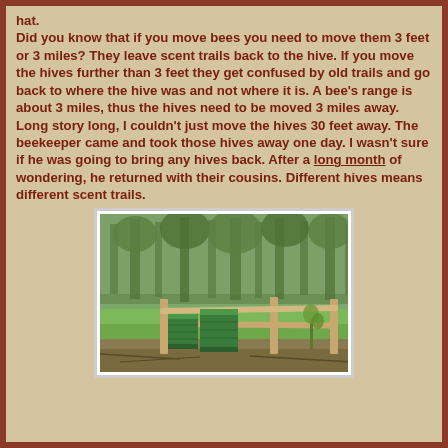hat.
Did you know that if you move bees you need to move them 3 feet or 3 miles?  They leave scent trails back to the hive.  If you move the hives further than 3 feet they get confused by old trails and go back to where the hive was and not where it is.  A bee's range is about 3 miles, thus the hives need to be moved 3 miles away.  Long story long,  I couldn't just move the hives 30 feet away.  The beekeeper came and took those hives away one day.  I wasn't sure if he was going to bring any hives back.  After a long month of wondering, he returned with their cousins.  Different hives means different scent trails.
[Figure (photo): Two green beehive boxes sitting on the ground in front of a wooden split-rail fence, with trees and green grass visible in the background.]